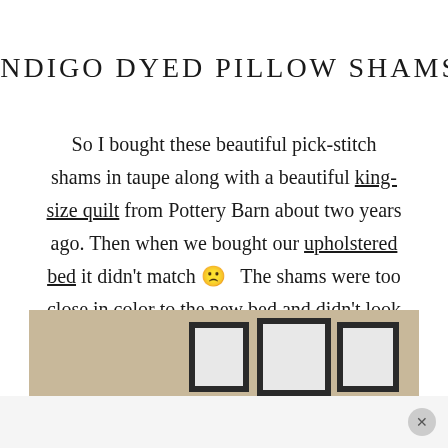INDIGO DYED PILLOW SHAMS
So I bought these beautiful pick-stitch shams in taupe along with a beautiful king-size quilt from Pottery Barn about two years ago. Then when we bought our upholstered bed it didn't match 🙁  The shams were too close in color to the new bed and didn't look good.
[Figure (photo): Partial view of a bedroom wall with framed pictures hanging on a taupe/tan wall, and the bottom portion shows white bedding or pillows.]